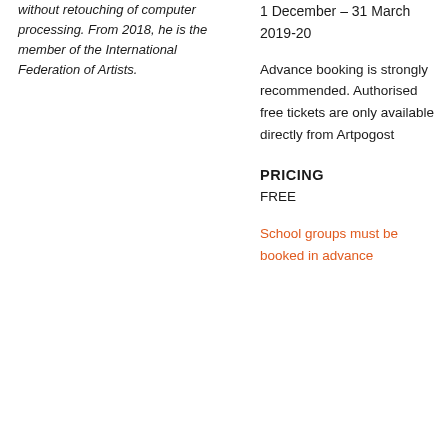without retouching of computer processing. From 2018, he is the member of the International Federation of Artists.
1 December – 31 March 2019-20
Advance booking is strongly recommended. Authorised free tickets are only available directly from Artpogost
PRICING
FREE
School groups must be booked in advance